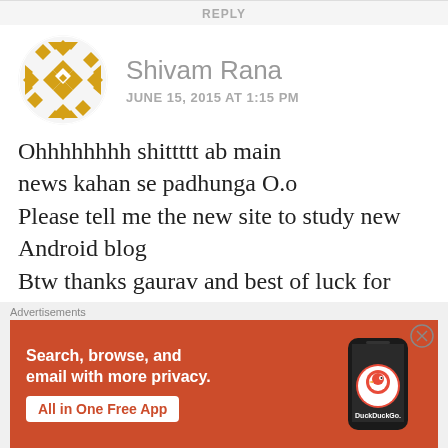REPLY
Shivam Rana
JUNE 15, 2015 AT 1:15 PM
Ohhhhhhhh shittttt ab main news kahan se padhunga O.o Please tell me the new site to study new Android blog Btw thanks gaurav and best of luck for your future your blogs was great
Advertisements
Search, browse, and email with more privacy. All in One Free App DuckDuckGo.